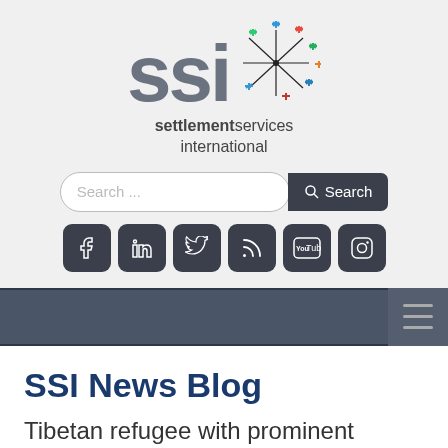[Figure (logo): SSI Settlement Services International logo with colorful burst/fireworks graphic and grey SSI letters]
[Figure (screenshot): Search bar with text 'Search ...' and dark Search button with magnifying glass icon]
[Figure (screenshot): Social media icons row: Facebook, LinkedIn, Twitter, RSS, YouTube, Instagram - all dark rounded square icons]
[Figure (screenshot): Dark navigation bar with hamburger menu icon on the right]
SSI News Blog
Tibetan refugee with prominent political profile helps translate